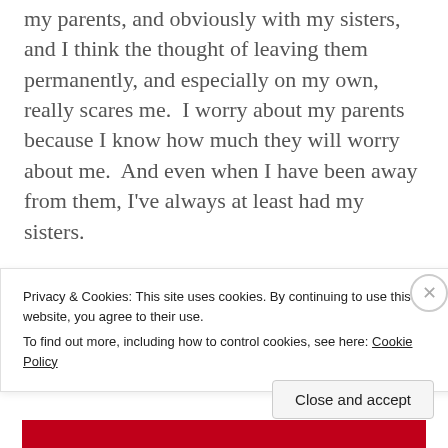my parents, and obviously with my sisters, and I think the thought of leaving them permanently, and especially on my own, really scares me.  I worry about my parents because I know how much they will worry about me.  And even when I have been away from them, I've always at least had my sisters.
But then I think of Malta and how it
Privacy & Cookies: This site uses cookies. By continuing to use this website, you agree to their use.
To find out more, including how to control cookies, see here: Cookie Policy
Close and accept